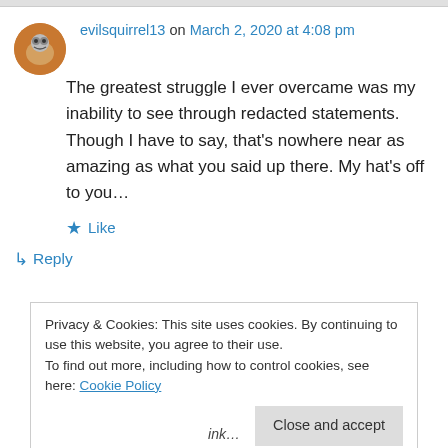evilsquirrel13 on March 2, 2020 at 4:08 pm
The greatest struggle I ever overcame was my inability to see through redacted statements. Though I have to say, that's nowhere near as amazing as what you said up there. My hat's off to you…
★ Like
↳ Reply
Privacy & Cookies: This site uses cookies. By continuing to use this website, you agree to their use. To find out more, including how to control cookies, see here: Cookie Policy
Close and accept
ink…